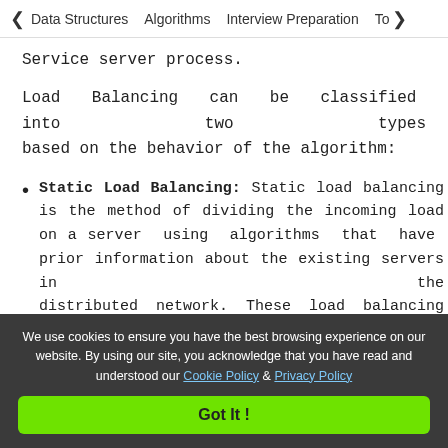< Data Structures  Algorithms  Interview Preparation  To>
Service server process.
Load Balancing can be classified into two types based on the behavior of the algorithm:
Static Load Balancing: Static load balancing is the method of dividing the incoming load on a server using algorithms that have prior information about the existing servers in the distributed network. These load balancing schemes have a pre-defined load schedule that determines a fixed amount of load that can be
We use cookies to ensure you have the best browsing experience on our website. By using our site, you acknowledge that you have read and understood our Cookie Policy & Privacy Policy
Got It !